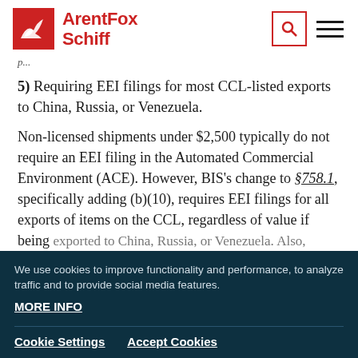ArentFox Schiff
p...
5) Requiring EEI filings for most CCL-listed exports to China, Russia, or Venezuela.
Non-licensed shipments under $2,500 typically do not require an EEI filing in the Automated Commercial Environment (ACE). However, BIS's change to §758.1, specifically adding (b)(10), requires EEI filings for all exports of items on the CCL, regardless of value if being exported to China, Russia, or Venezuela. Also, exporters
We use cookies to improve functionality and performance, to analyze traffic and to provide social media features. MORE INFO Cookie Settings Accept Cookies